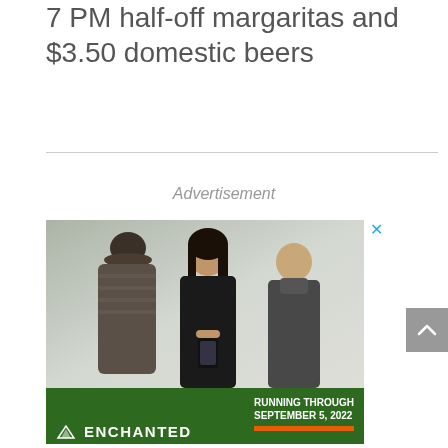7 PM half-off margaritas and $3.50 domestic beers
Advertisement
[Figure (photo): Advertisement banner showing three young people looking at a smartphone outdoors, with an Enchanted forest/event advertisement at the bottom reading 'RUNNING THROUGH SEPTEMBER 5, 2022']